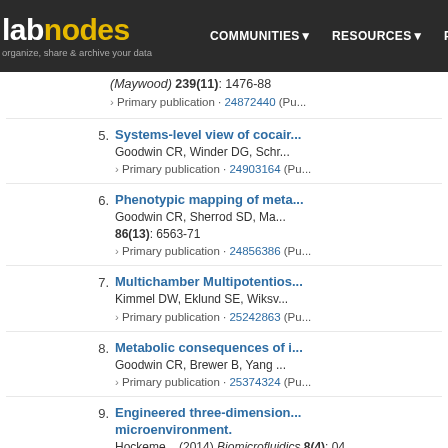labnodes | COMMUNITIES | RESOURCES | PEOPLE
5. Systems-level view of cocair... Goodwin CR, Winder DG, Schr... › Primary publication · 24903164 (Pu...
6. Phenotypic mapping of meta... Goodwin CR, Sherrod SD, Ma... 86(13): 6563-71 › Primary publication · 24856386 (Pu...
7. Multichamber Multipotentios... Kimmel DW, Eklund SE, Wiksv... › Primary publication · 25242863 (Pu...
8. Metabolic consequences of i... Goodwin CR, Brewer B, Yang ... › Primary publication · 25374324 (Pu...
9. Engineered three-dimension... microenvironment. Hockeme... (2014) Biomicrofluidics 8(4): 04... › Primary publication · 25379090 (Pu...
10. A microfluidic-enabled mech...